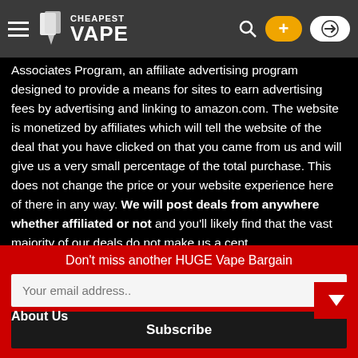Cheapest Vape
Associates Program, an affiliate advertising program designed to provide a means for sites to earn advertising fees by advertising and linking to amazon.com. The website is monetized by affiliates which will tell the website of the deal that you have clicked on that you came from us and will give us a very small percentage of the total purchase. This does not change the price or your website experience here of there in any way. We will post deals from anywhere whether affiliated or not and you'll likely find that the vast majority of our deals do not make us a cent.
For all enquiries regarding advertising or otherwise please Contact Us here
About Us
Don't miss another HUGE Vape Bargain
Your email address..
Subscribe